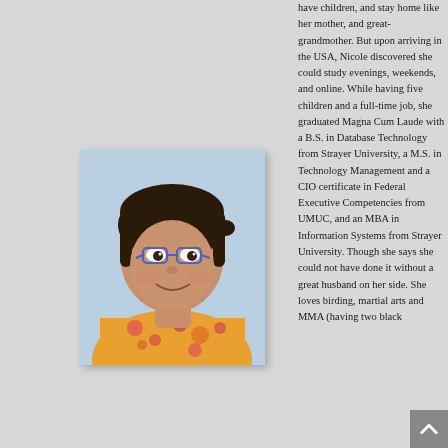[Figure (photo): Headshot photo of a middle-aged woman with glasses, dark hair pulled back, wearing a floral top, against a light blue background]
have children, and stay home like her mother, and great-grandmother. But upon arriving in the USA, Nicole discovered she could study evenings, weekends, and online. While having five children and a full-time job, she graduated Magna Cum Laude with a B.S. in Database Technology from Strayer University, a M.S. in Technology Management and a CIO certificate in Federal Executive Competencies from UMUC, and an MBA in Information Systems from Strayer University. Though she says she could not have done it without a great husband on her side. She loves birding, martial arts and MMA (having two black